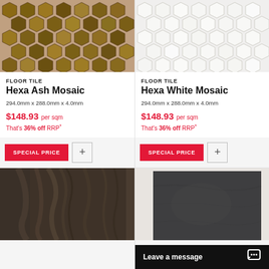[Figure (photo): Hexa Ash Mosaic floor tile sample showing hexagonal brown/amber mosaic pattern]
[Figure (photo): Hexa White Mosaic floor tile sample showing hexagonal white/light grey mosaic pattern]
FLOOR TILE
Hexa Ash Mosaic
294.0mm x 288.0mm x 4.0mm
$148.93 per sqm
That's 36% off RRP*
SPECIAL PRICE
FLOOR TILE
Hexa White Mosaic
294.0mm x 288.0mm x 4.0mm
$148.93 per sqm
That's 36% off RRP*
SPECIAL PRICE
[Figure (photo): Dark wood-look floor tile sample, partially visible]
[Figure (photo): Dark charcoal/anthracite stone-look floor tile sample, partially visible]
Leave a message